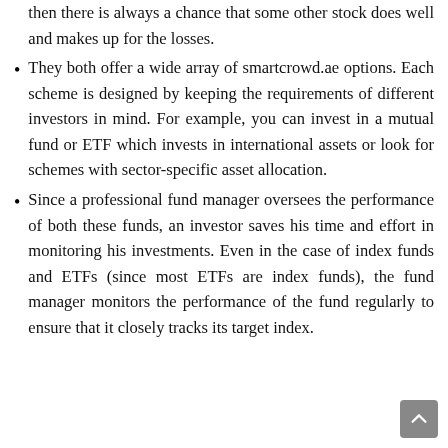then there is always a chance that some other stock does well and makes up for the losses.
They both offer a wide array of smartcrowd.ae options. Each scheme is designed by keeping the requirements of different investors in mind. For example, you can invest in a mutual fund or ETF which invests in international assets or look for schemes with sector-specific asset allocation.
Since a professional fund manager oversees the performance of both these funds, an investor saves his time and effort in monitoring his investments. Even in the case of index funds and ETFs (since most ETFs are index funds), the fund manager monitors the performance of the fund regularly to ensure that it closely tracks its target index.